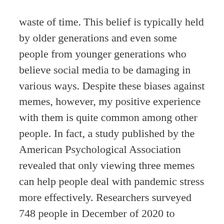waste of time. This belief is typically held by older generations and even some people from younger generations who believe social media to be damaging in various ways. Despite these biases against memes, however, my positive experience with them is quite common among other people. In fact, a study published by the American Psychological Association revealed that only viewing three memes can help people deal with pandemic stress more effectively. Researchers surveyed 748 people in December of 2020 to “determine whether viewing memes would influence their positive emotions, anxiety, information processing and coping during COVID-19” (American Psychological Association, 2021).
The results of the research revealed that people who viewed more memes compared to other forms